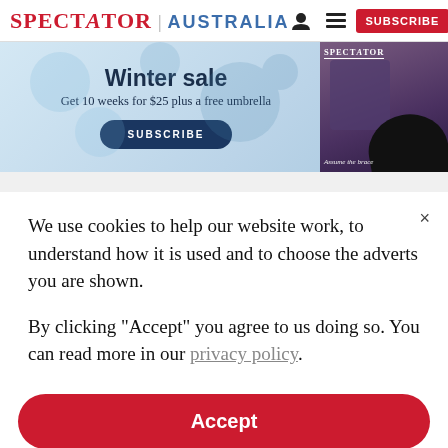SPECTATOR | AUSTRALIA
[Figure (infographic): Winter sale banner ad: 'Winter sale - Get 10 weeks for $25 plus a free umbrella' with a SUBSCRIBE button, and a Spectator magazine cover with umbrella on the right. Caption: 'Assume the brace']
We use cookies to help our website work, to understand how it is used and to choose the adverts you are shown.
By clicking "Accept" you agree to us doing so. You can read more in our privacy policy.
Accept